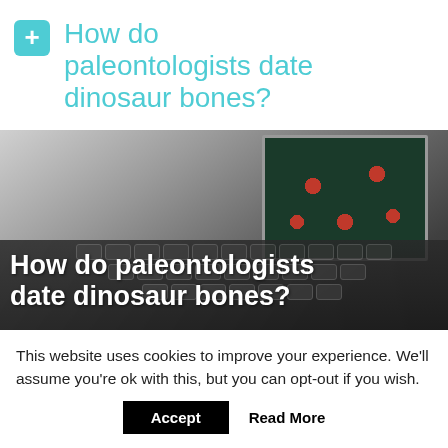How do paleontologists date dinosaur bones?
[Figure (photo): Photo of an open laptop with a floral-patterned screen, overlaid with bold white text reading 'How do paleontologists date dinosaur bones?']
This website uses cookies to improve your experience. We'll assume you're ok with this, but you can opt-out if you wish.